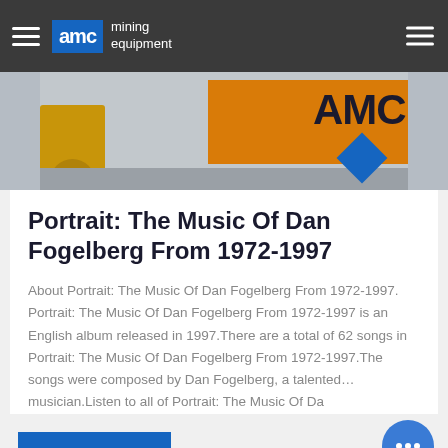AMC mining equipment
[Figure (photo): Outdoor photo showing yellow mining machinery on the left and an AMC branded orange sign with blue diamond logo on the right, on a grey background.]
Portrait: The Music Of Dan Fogelberg From 1972-1997
About Portrait: The Music Of Dan Fogelberg From 1972-1997. Portrait: The Music Of Dan Fogelberg From 1972-1997 is an English album released in 1997.There are a total of 62 songs in Portrait: The Music Of Dan Fogelberg From 1972-1997.The songs were composed by Dan Fogelberg, a talented... musician.Listen to all of Portrait: The Music Of Da